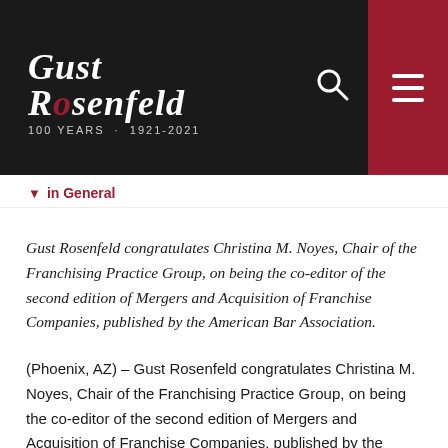[Figure (logo): Gust Rosenfeld law firm logo with text 'GUST ROSENFELD 100 YEARS · 1921-2021' on dark background, with search icon and red hamburger menu button]
in General
Gust Rosenfeld congratulates Christina M. Noyes, Chair of the Franchising Practice Group, on being the co-editor of the second edition of Mergers and Acquisition of Franchise Companies, published by the American Bar Association.
(Phoenix, AZ) – Gust Rosenfeld congratulates Christina M. Noyes, Chair of the Franchising Practice Group, on being the co-editor of the second edition of Mergers and Acquisition of Franchise Companies, published by the